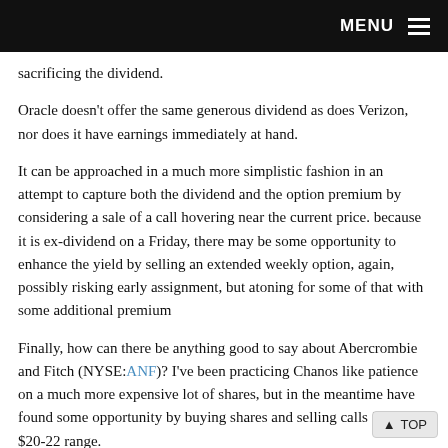MENU
sacrificing the dividend.
Oracle doesn't offer the same generous dividend as does Verizon, nor does it have earnings immediately at hand.
It can be approached in a much more simplistic fashion in an attempt to capture both the dividend and the option premium by considering a sale of a call hovering near the current price. because it is ex-dividend on a Friday, there may be some opportunity to enhance the yield by selling an extended weekly option, again, possibly risking early assignment, but atoning for some of that with some additional premium
Finally, how can there be anything good to say about Abercrombie and Fitch (NYSE:ANF)? I've been practicing Chanos like patience on a much more expensive lot of shares, but in the meantime have found some opportunity by buying shares and selling calls in the $20-22 range.
Having now done so on 4 occasions in 2015 it nay be time to do so again as it closed in at the lower end of that range. With its earnings due relatively late in the current cycle